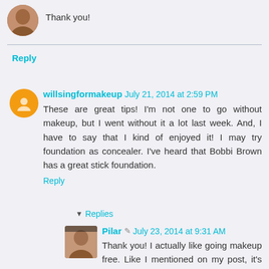Thank you!
Reply
willsingformakeup  July 21, 2014 at 2:59 PM
These are great tips! I'm not one to go without makeup, but I went without it a lot last week. And, I have to say that I kind of enjoyed it! I may try foundation as concealer. I've heard that Bobbi Brown has a great stick foundation.
Reply
Replies
Pilar  July 23, 2014 at 9:31 AM
Thank you! I actually like going makeup free. Like I mentioned on my post, it's just too hot for makeup lol. The key to the foundation working as a concealer is using a really good foundation or foundation stick. I heard Bobbi Brown has good